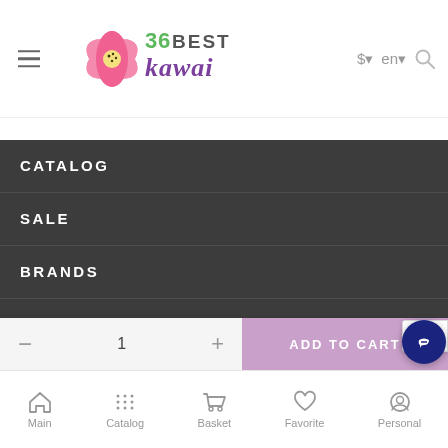[Figure (logo): 36Best Kawai logo with pink flower and text]
CATALOG
SALE
BRANDS
SITE MAP
— 1 + ADD TO CART
Main  Catalog  Basket  Favorite  Personal